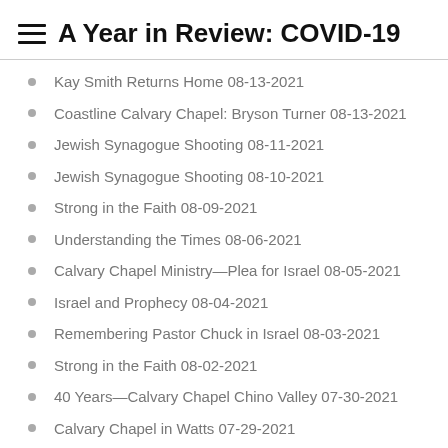A Year in Review: COVID-19
Kay Smith Returns Home 08-13-2021
Coastline Calvary Chapel: Bryson Turner 08-13-2021
Jewish Synagogue Shooting 08-11-2021
Jewish Synagogue Shooting 08-10-2021
Strong in the Faith 08-09-2021
Understanding the Times 08-06-2021
Calvary Chapel Ministry—Plea for Israel 08-05-2021
Israel and Prophecy 08-04-2021
Remembering Pastor Chuck in Israel 08-03-2021
Strong in the Faith 08-02-2021
40 Years—Calvary Chapel Chino Valley 07-30-2021
Calvary Chapel in Watts 07-29-2021
U-Turn For Christ 07-28-2021